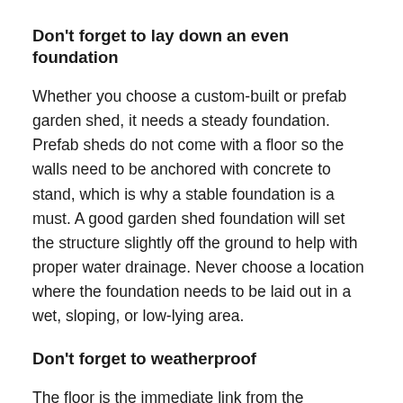Don't forget to lay down an even foundation
Whether you choose a custom-built or prefab garden shed, it needs a steady foundation. Prefab sheds do not come with a floor so the walls need to be anchored with concrete to stand, which is why a stable foundation is a must. A good garden shed foundation will set the structure slightly off the ground to help with proper water drainage. Never choose a location where the foundation needs to be laid out in a wet, sloping, or low-lying area.
Don't forget to weatherproof
The floor is the immediate link from the foundation to the rest of the shed. A sturdy floor that never gives in to harsh weather conditions, especially rains, storms,